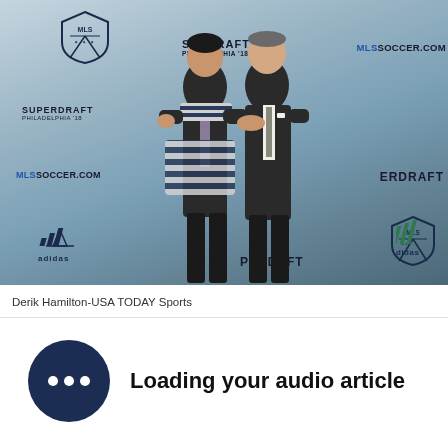[Figure (photo): Two men in suits shaking hands at MLS SuperDraft Philadelphia 2018 event. The younger man is wearing a Whitecaps FC scarf. Background shows MLS SuperDraft Philadelphia '18, MLSSOCCER.COM, and adidas branding backdrops.]
Derik Hamilton-USA TODAY Sports
Loading your audio article